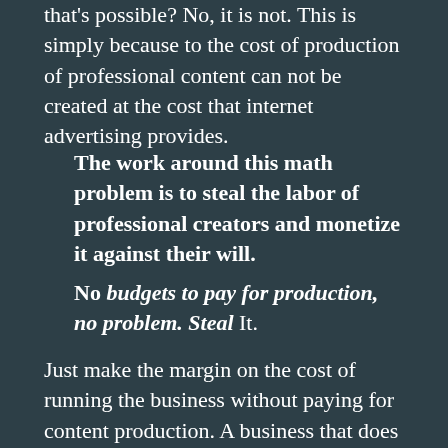that's possible? No, it is not. This is simply because to the cost of production of professional content can not be created at the cost that internet advertising provides.
The work around this math problem is to steal the labor of professional creators and monetize it against their will.
No budgets to pay for production, no problem. Steal It.
Just make the margin on the cost of running the business without paying for content production. A business that does not have to pay for its inventory or cost of goods is far